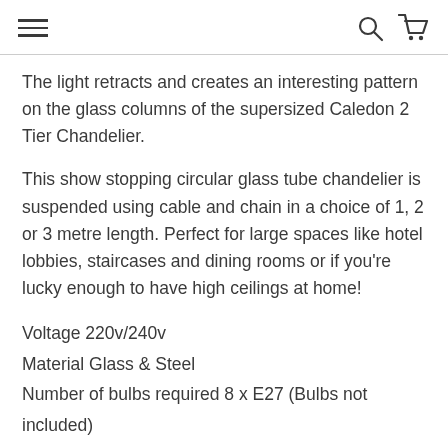[hamburger menu] [search icon] [cart icon]
The light retracts and creates an interesting pattern on the glass columns of the supersized Caledon 2 Tier Chandelier.
This show stopping circular glass tube chandelier is suspended using cable and chain in a choice of 1, 2 or 3 metre length. Perfect for large spaces like hotel lobbies, staircases and dining rooms or if you're lucky enough to have high ceilings at home!
Voltage 220v/240v
Material Glass & Steel
Number of bulbs required 8 x E27 (Bulbs not included)
IP Rating IP20